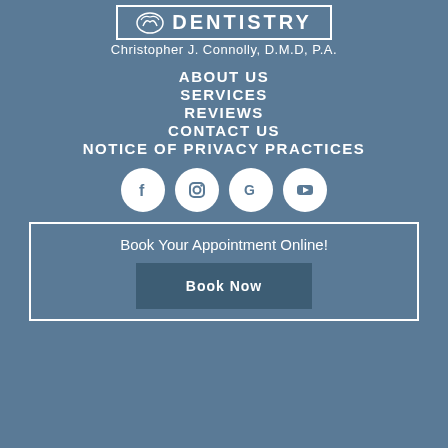[Figure (logo): Connolly Dentistry logo with tooth/dental icon and border]
Christopher J. Connolly, D.M.D, P.A.
ABOUT US
SERVICES
REVIEWS
CONTACT US
NOTICE OF PRIVACY PRACTICES
[Figure (infographic): Social media icons: Facebook, Instagram, Google, YouTube - white circles on blue background]
Book Your Appointment Online!
Book Now